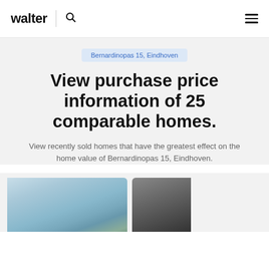walter | search | menu
Bernardinopas 15, Eindhoven
View purchase price information of 25 comparable homes.
View recently sold homes that have the greatest effect on the home value of Bernardinopas 15, Eindhoven.
[Figure (photo): Two property photo thumbnails shown at the bottom of the page — left image shows a house exterior with blue sky, right image shows a darker building exterior.]